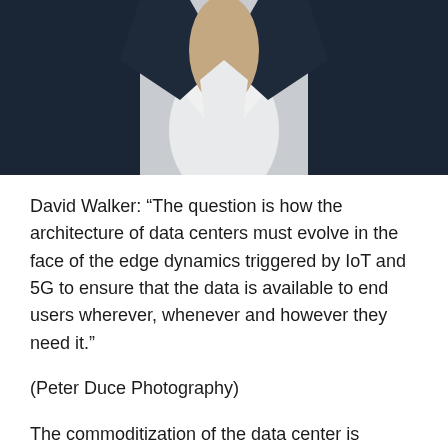[Figure (photo): Close-up photo of a person wearing a dark navy jacket and white open-collar shirt, photo cropped to show neck and collar area]
David Walker: “The question is how the architecture of data centers must evolve in the face of the edge dynamics triggered by IoT and 5G to ensure that the data is available to end users wherever, whenever and however they need it.”
(Peter Duce Photography)
The commoditization of the data center is already underway. These three trends are the inevitable result of the user’s desire to scale cost-effectively